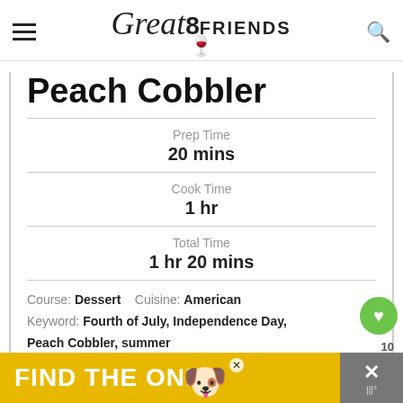Great8 FRIENDS
Peach Cobbler
Prep Time
20 mins
Cook Time
1 hr
Total Time
1 hr 20 mins
Course: Dessert    Cuisine: American
Keyword: Fourth of July, Independence Day, Peach Cobbler, summer